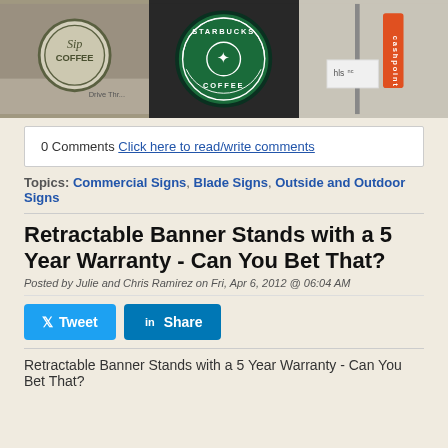[Figure (photo): Three commercial signs: Sip Coffee circular blade sign, Starbucks Coffee circular green illuminated sign, and a red vertical pole sign next to an hls building]
0 Comments Click here to read/write comments
Topics: Commercial Signs, Blade Signs, Outside and Outdoor Signs
Retractable Banner Stands with a 5 Year Warranty - Can You Bet That?
Posted by Julie and Chris Ramirez on Fri, Apr 6, 2012 @ 06:04 AM
[Figure (infographic): Tweet and Share social media buttons]
Retractable Banner Stands with a 5 Year Warranty - Can You Bet That?